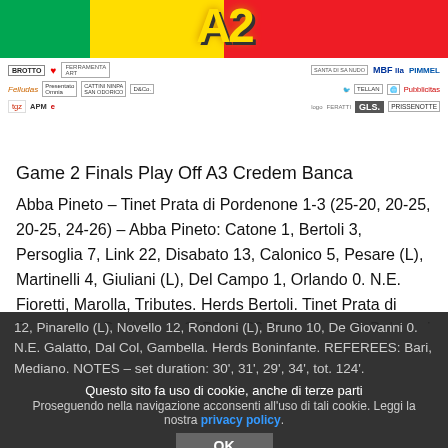[Figure (logo): A3 Credem Banca logo banner with Italian flag colors (green, yellow, red) and stylized A2 text in yellow]
[Figure (logo): Sponsor logos strip: BROTTO, heart logo, FERRAMENTA ART, SANTA DI SA NUDO, MBF lla, PIMMEL, Felludas, Presentato Omnia, CATTINI NINPA SAN ODORICO, D&Co., TOMBIELLA, TELLAN, logo, Pubblicitas, tgz, APM, e (elettrella), logo, FERATTI, GLS, PRISSENOTTE]
Game 2 Finals Play Off A3 Credem Banca
Abba Pineto – Tinet Prata di Pordenone 1-3 (25-20, 20-25, 20-25, 24-26) – Abba Pineto: Catone 1, Bertoli 3, Persoglia 7, Link 22, Disabato 13, Calonico 5, Pesare (L), Martinelli 4, Giuliani (L), Del Campo 1, Orlando 0. N.E. Fioretti, Marolla, Tributes. Herds Bertoli. Tinet Prata di Pordenone: Boninfante 3, Porro 20, Bortolozzo 3, Baldazzi 0, Yordanov 0, Katalan 12, Pinarello (L), Novello 12, Rondoni (L), Bruno 10, De Giovanni 0. N.E. Galatto, Dal Col, Gambella. Herds Boninfante. REFEREES: Bari, Mediano. NOTES – set duration: 30', 31', 29', 34', tot. 124'.
Questo sito fa uso di cookie, anche di terze parti
Proseguendo nella navigazione acconsenti all'uso di tali cookie. Leggi la nostra privacy policy.